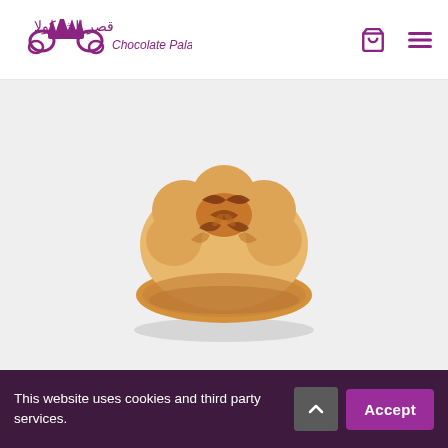[Figure (logo): Chocolate Palace logo with Arabic text قصر الشوكولا and English text 'Chocolate Palace' in purple, with decorative swirls and crown]
[Figure (photo): A flower-shaped golden brown pastry/cookie with dark browned top ridges, on a white/light grey background]
This website uses cookies and third party services.